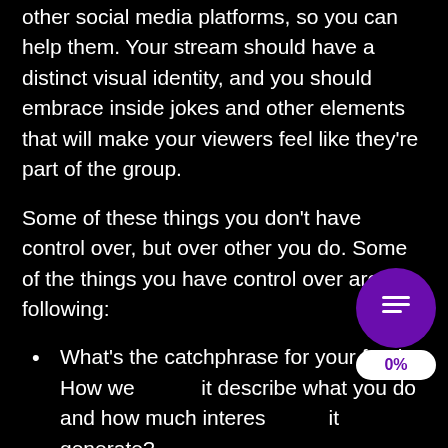spend time getting to know them, both in your stream and on other social media platforms, so you can help them. Your stream should have a distinct visual identity, and you should embrace inside jokes and other elements that will make your viewers feel like they're part of the group.
Some of these things you don't have control over, but over other you do. Some of the things you have control over are the following:
What's the catchphrase for your feed? How well does it describe what you do and how much interest does it generate?
See if you can get your family and friends to give an honest opinion on your thumbnail image. Is it noticeable from the rest?